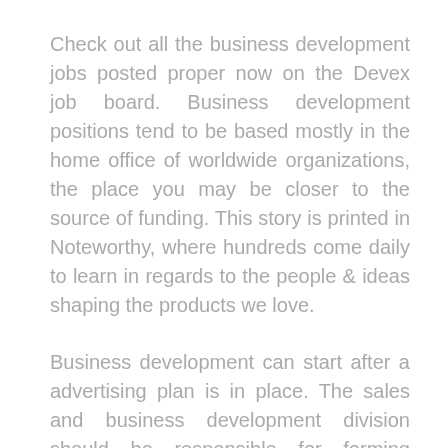Check out all the business development jobs posted proper now on the Devex job board. Business development positions tend to be based mostly in the home office of worldwide organizations, the place you may be closer to the source of funding. This story is printed in Noteworthy, where hundreds come daily to learn in regards to the people & ideas shaping the products we love.
Business development can start after a advertising plan is in place. The sales and business development division should be responsible for forming partnerships and strategic relationships with referral sources and other professional contacts in target markets in order to herald new